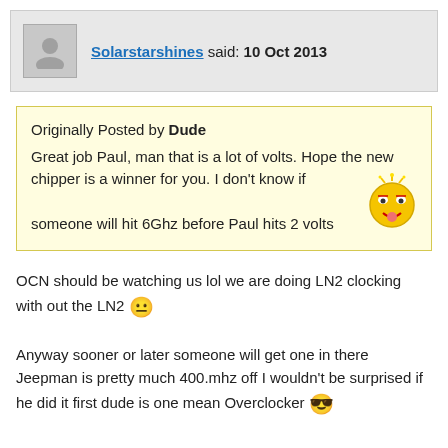Solarstarshines said: 10 Oct 2013
Originally Posted by Dude
Great job Paul, man that is a lot of volts. Hope the new chipper is a winner for you. I don't know if someone will hit 6Ghz before Paul hits 2 volts
OCN should be watching us lol we are doing LN2 clocking with out the LN2 😐
Anyway sooner or later someone will get one in there Jeepman is pretty much 400.mhz off I wouldn't be surprised if he did it first dude is one mean Overclocker 😎